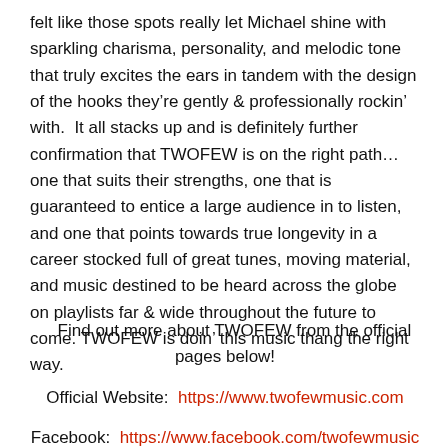felt like those spots really let Michael shine with sparkling charisma, personality, and melodic tone that truly excites the ears in tandem with the design of the hooks they're gently & professionally rockin' with.  It all stacks up and is definitely further confirmation that TWOFEW is on the right path…one that suits their strengths, one that is guaranteed to entice a large audience in to listen, and one that points towards true longevity in a career stocked full of great tunes, moving material, and music destined to be heard across the globe on playlists far & wide throughout the future to come. TWOFEW is doin' this music thang the right way.
Find out more about TWOFEW from the official pages below!
Official Website:  https://www.twofewmusic.com
Facebook:  https://www.facebook.com/twofewmusic
Twitter:  https://twitter.com/twofew